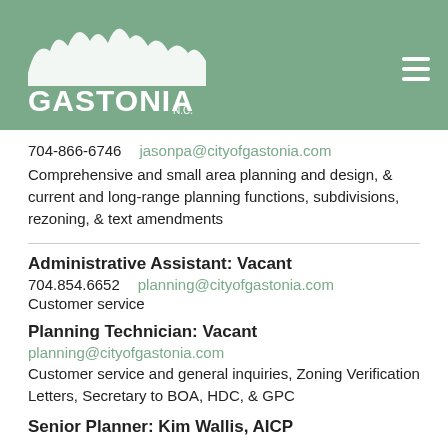[Figure (logo): City of Gastonia NC logo in white on green background with hamburger menu icon]
704-866-6746   jasonpa@cityofgastonia.com
Comprehensive and small area planning and design, & current and long-range planning functions, subdivisions, rezoning, & text amendments
Administrative Assistant: Vacant
704.854.6652   planning@cityofgastonia.com
Customer service
Planning Technician: Vacant
planning@cityofgastonia.com
Customer service and general inquiries, Zoning Verification Letters, Secretary to BOA, HDC, & GPC
Senior Planner: Kim Wallis, AICP